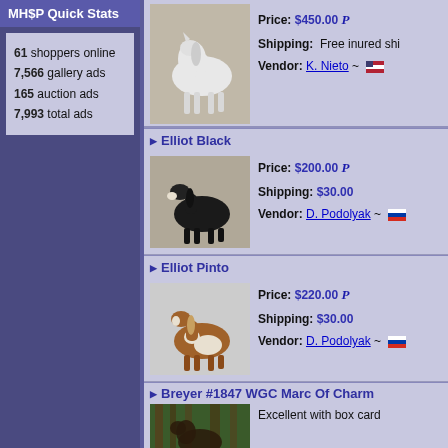MH$P Quick Stats
61 shoppers online
7,566 gallery ads
165 auction ads
7,993 total ads
[Figure (photo): White horse figurine (Clydesdale/draft breed) facing right, on wooden surface]
Price: $450.00
Shipping: Free inured shi
Vendor: K. Nieto ~ [US flag]
Elliot Black
[Figure (photo): Black Shetland pony figurine standing, facing left]
Price: $200.00
Shipping: $30.00
Vendor: D. Podolyak ~ [Russian flag]
Elliot Pinto
[Figure (photo): Brown and white pinto Shetland pony figurine standing, facing left]
Price: $220.00
Shipping: $30.00
Vendor: D. Podolyak ~ [Russian flag]
Breyer #1847 WGC Marc Of Charm
Excellent with box card
[Figure (photo): Partial view of dark horse model in outdoor forest setting]